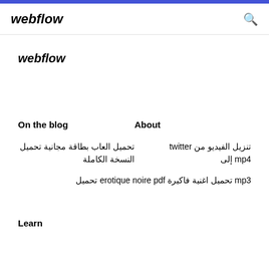webflow
webflow
On the blog
About
تنزيل الفيديو من twitter إلى mp4
تحميل العاب بطاقة مجانية تحميل النسخة الكاملة
mp3 تحميل اغنية فاكيرة erotique noire pdf تحميل
Learn